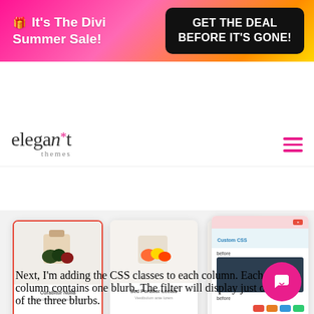🎁 It's The Divi Summer Sale! | GET THE DEAL BEFORE IT'S GONE!
[Figure (screenshot): Navigation bar with Elegant Themes logo on the left and hamburger menu icon on the right]
[Figure (screenshot): Screenshot of Divi builder interface showing three product cards with vegetables/food images and a CSS panel on the right side]
Next, I'm adding the CSS classes to each column. Each column contains one blurb. The filter will display just one of the three blurbs.